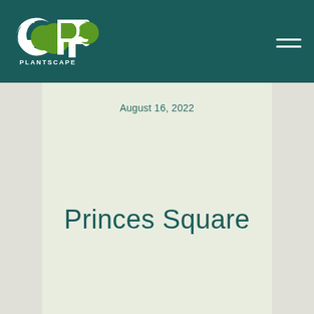GP PLANTSCAPE
August 16, 2022
Princes Square
Read More →